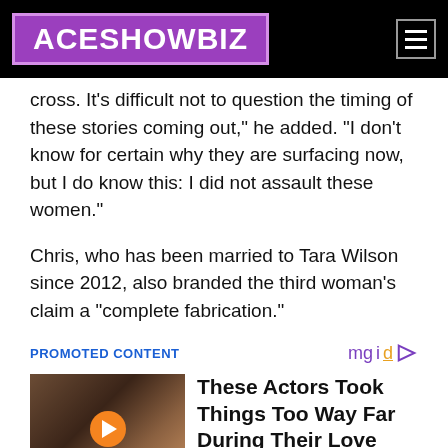ACESHOWBIZ
cross. It's difficult not to question the timing of these stories coming out," he added. "I don't know for certain why they are surfacing now, but I do know this: I did not assault these women."
Chris, who has been married to Tara Wilson since 2012, also branded the third woman's claim a "complete fabrication."
PROMOTED CONTENT
[Figure (photo): Thumbnail image of actors in a love scene with a play button overlay]
These Actors Took Things Too Way Far During Their Love Scenes